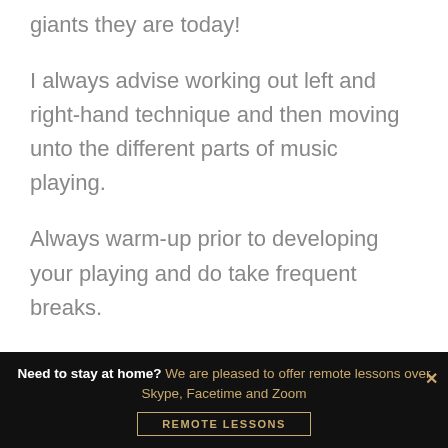giants they are today!
I always advise working out left and right-hand technique and then moving unto the different parts of music playing.
Always warm-up prior to developing your playing and do take frequent breaks.
Need to stay at home? We are pleased to offer remote lessons over Skype, Facetime and Zoom